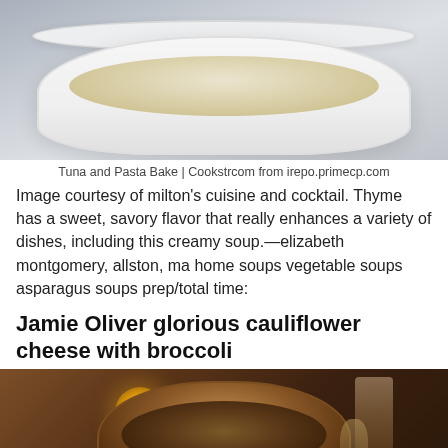[Figure (photo): Close-up photo of a white ceramic baking dish with tuna and pasta bake, creamy golden-brown topping visible]
Tuna and Pasta Bake | Cookstrcom from irepo.primecp.com
Image courtesy of milton's cuisine and cocktail. Thyme has a sweet, savory flavor that really enhances a variety of dishes, including this creamy soup.—elizabeth montgomery, allston, ma home soups vegetable soups asparagus soups prep/total time:
Jamie Oliver glorious cauliflower cheese with broccoli
[Figure (photo): Photo of a rustic cauliflower cheese with broccoli dish in a scalloped baking dish on a wooden table, with candle and glass in background]